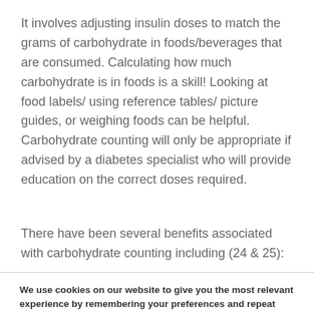It involves adjusting insulin doses to match the grams of carbohydrate in foods/beverages that are consumed. Calculating how much carbohydrate is in foods is a skill! Looking at food labels/ using reference tables/ picture guides, or weighing foods can be helpful. Carbohydrate counting will only be appropriate if advised by a diabetes specialist who will provide education on the correct doses required.
There have been several benefits associated with carbohydrate counting including (24 & 25):
We use cookies on our website to give you the most relevant experience by remembering your preferences and repeat visits. By clicking "Accept", you consent to the use of ALL the cookies. However you may visit Cookie Settings to provide a controlled consent.